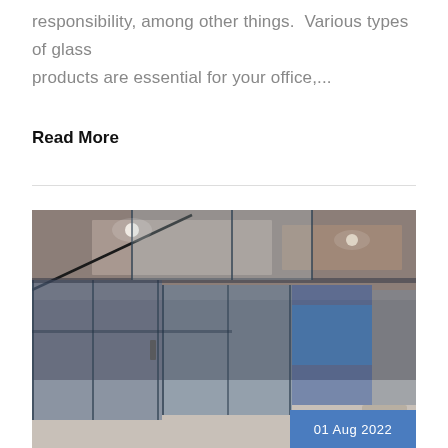responsibility, among other things.  Various types of glass products are essential for your office,...
Read More
[Figure (photo): Interior of a modern office space with glass partition walls and glass ceiling panels, illuminated with recessed lighting. A date badge '01 Aug 2022' appears in the bottom right corner over a blue background.]